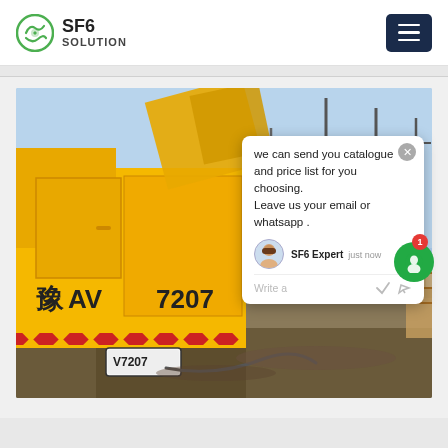SF6 SOLUTION
[Figure (photo): Yellow SF6 service truck (license plate 豫AV7207) parked at an electrical substation construction site, with high-voltage transmission towers visible in the background. The truck has yellow-and-red-striped hazard markings.]
we can send you catalogue and price list for you choosing.
Leave us your email or whatsapp .

SF6 Expert  just now
Write a